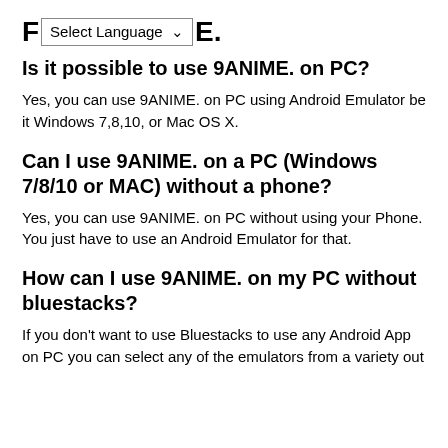FAQ 9ANIME.
Is it possible to use 9ANIME. on PC?
Yes, you can use 9ANIME. on PC using Android Emulator be it Windows 7,8,10, or Mac OS X.
Can I use 9ANIME. on a PC (Windows 7/8/10 or MAC) without a phone?
Yes, you can use 9ANIME. on PC without using your Phone. You just have to use an Android Emulator for that.
How can I use 9ANIME. on my PC without bluestacks?
If you don't want to use Bluestacks to use any Android App on PC you can select any of the emulators from a variety out